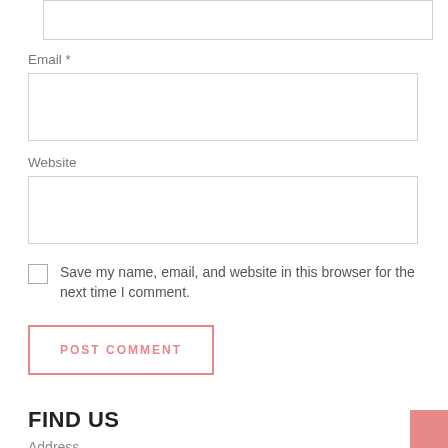[Figure (other): Empty input field (top, partially visible)]
Email *
[Figure (other): Email input field (empty text box)]
Website
[Figure (other): Website input field (empty text box)]
Save my name, email, and website in this browser for the next time I comment.
POST COMMENT
FIND US
Address